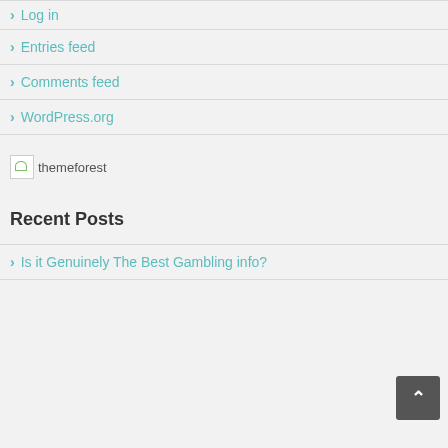> Log in
> Entries feed
> Comments feed
> WordPress.org
[Figure (illustration): Broken image placeholder with alt text 'themeforest']
Recent Posts
> Is it Genuinely The Best Gambling info?